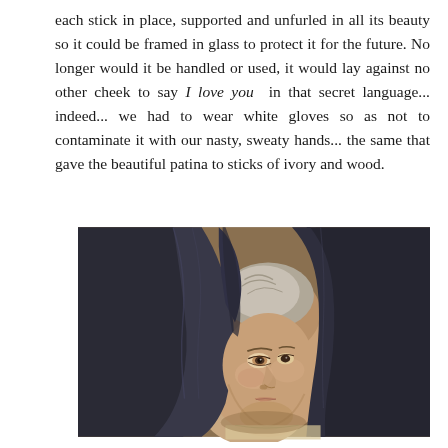each stick in place, supported and unfurled in all its beauty so it could be framed in glass to protect it for the future. No longer would it be handled or used, it would lay against no other cheek to say I love you in that secret language... indeed... we had to wear white gloves so as not to contaminate it with our nasty, sweaty hands... the same that gave the beautiful patina to sticks of ivory and wood.
[Figure (photo): A classical portrait painting of a woman wearing a dark hooded veil or cloak draped over her head, partially obscuring her face. She has a subtle, gentle expression with one eye more visible than the other. The painting style resembles 18th-century European portraiture with warm brown background tones.]